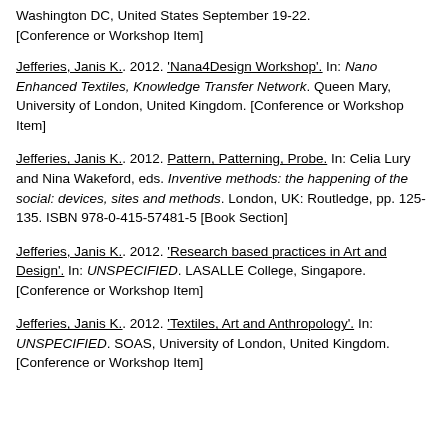Washington DC, United States September 19-22. [Conference or Workshop Item]
Jefferies, Janis K.. 2012. 'Nana4Design Workshop'. In: Nano Enhanced Textiles, Knowledge Transfer Network. Queen Mary, University of London, United Kingdom. [Conference or Workshop Item]
Jefferies, Janis K.. 2012. Pattern, Patterning, Probe. In: Celia Lury and Nina Wakeford, eds. Inventive methods: the happening of the social: devices, sites and methods. London, UK: Routledge, pp. 125-135. ISBN 978-0-415-57481-5 [Book Section]
Jefferies, Janis K.. 2012. 'Research based practices in Art and Design'. In: UNSPECIFIED. LASALLE College, Singapore. [Conference or Workshop Item]
Jefferies, Janis K.. 2012. 'Textiles, Art and Anthropology'. In: UNSPECIFIED. SOAS, University of London, United Kingdom. [Conference or Workshop Item]